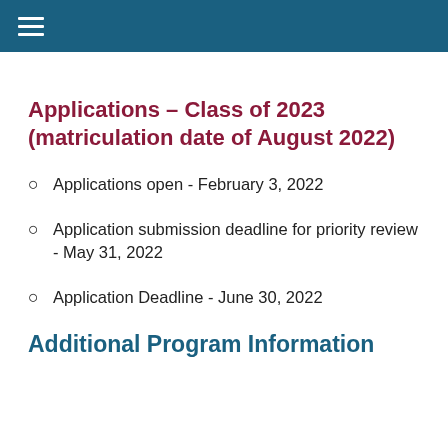Applications – Class of 2023 (matriculation date of August 2022)
Applications open - February 3, 2022
Application submission deadline for priority review - May 31, 2022
Application Deadline - June 30, 2022
Additional Program Information